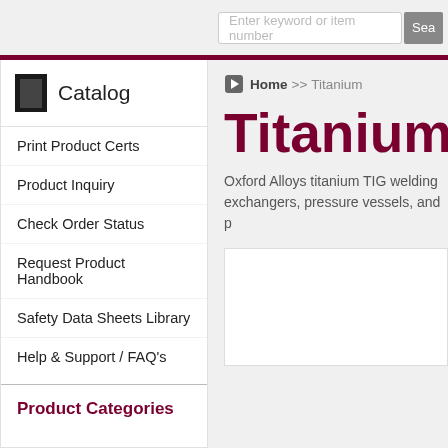[Figure (screenshot): Search bar input with placeholder text 'Enter keyword or item number' and a search button partially visible]
Catalog
Print Product Certs
Product Inquiry
Check Order Status
Request Product Handbook
Safety Data Sheets Library
Help & Support / FAQ's
Product Categories
Home >> Titanium
Titanium
Oxford Alloys titanium TIG welding exchangers, pressure vessels, and p
[Figure (screenshot): White content box area]